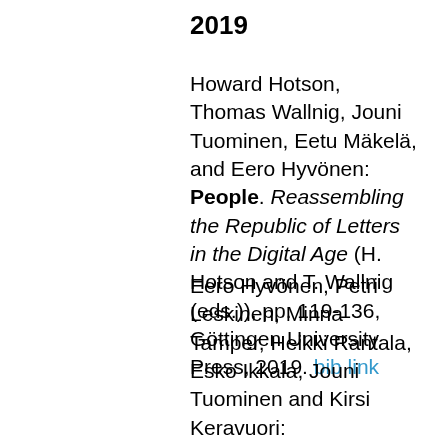2019
Howard Hotson, Thomas Wallnig, Jouni Tuominen, Eetu Mäkelä, and Eero Hyvönen: People. Reassembling the Republic of Letters in the Digital Age (H. Hotson and T. Wallnig (eds.)), pp. 119-136, Göttingen University Press, 2019. bib link
Eero Hyvönen, Petri Leskinen, Minna Tamper, Heikki Rantala, Esko Ikkala, Jouni Tuominen and Kirsi Keravuori: BiographySampo - Publishing and Enriching Biographies on the